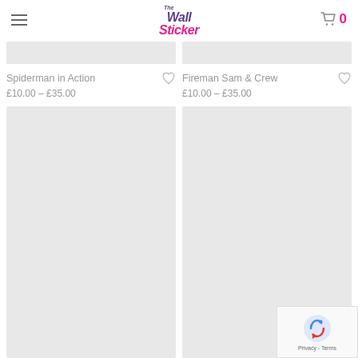The Wall Sticker [logo] | Cart: 0
[Figure (screenshot): Partially visible product image placeholder (grey rectangle, top of product card)]
Spiderman in Action
£10.00 – £35.00
[Figure (screenshot): Partially visible product image placeholder (grey rectangle, top of product card)]
Fireman Sam & Crew
£10.00 – £35.00
[Figure (photo): Large grey product image placeholder (lower left product card)]
[Figure (photo): Large grey product image placeholder (lower right product card)]